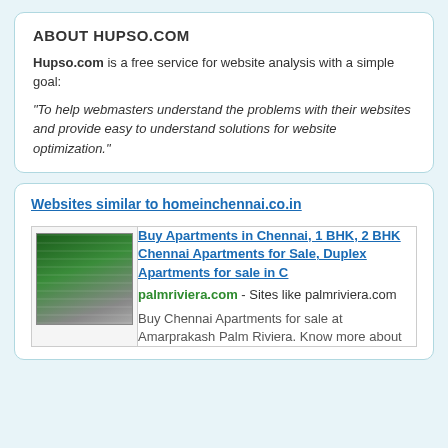ABOUT HUPSO.COM
Hupso.com is a free service for website analysis with a simple goal:
"To help webmasters understand the problems with their websites and provide easy to understand solutions for website optimization."
Websites similar to homeinchennai.co.in
Buy Apartments in Chennai, 1 BHK, 2 BHK Chennai Apartments for Sale, Duplex Apartments for sale in C
palmriviera.com - Sites like palmriviera.com
Buy Chennai Apartments for sale at Amarprakash Palm Riviera. Know more about